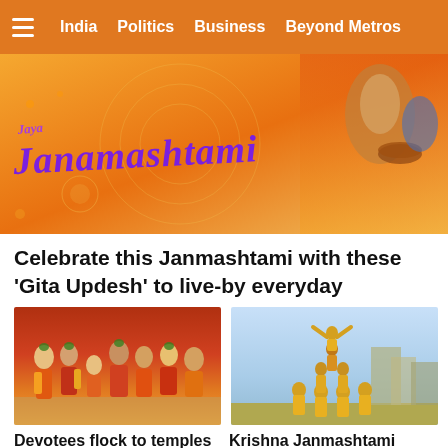India  Politics  Business  Beyond Metros
[Figure (photo): Janamashtami festival promotional banner with decorative orange and gold background, blue stylized text reading 'Janamashtami', and illustration of deity figure on the right side]
Celebrate this Janmashtami with these ‘Gita Updesh’ to live-by everyday
[Figure (photo): Group of devotees/performers dressed in traditional orange and red attire with green accessories, walking together in a procession celebrating Janmashtami]
Devotees flock to temples to celebrate Janmashtami
[Figure (photo): Human pyramid formation by performers dressed in yellow against an outdoor background with buildings visible, celebrating Dahi Handi]
Krishna Janmashtami 2022: When is Dahi Handi? Date, history, celebrations and